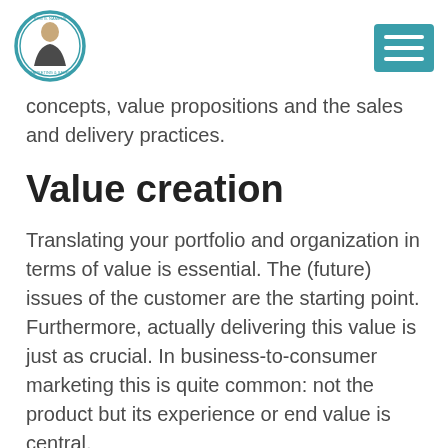Logo and navigation menu
concepts, value propositions and the sales and delivery practices.
Value creation
Translating your portfolio and organization in terms of value is essential. The (future) issues of the customer are the starting point. Furthermore, actually delivering this value is just as crucial. In business-to-consumer marketing this is quite common: not the product but its experience or end value is central.